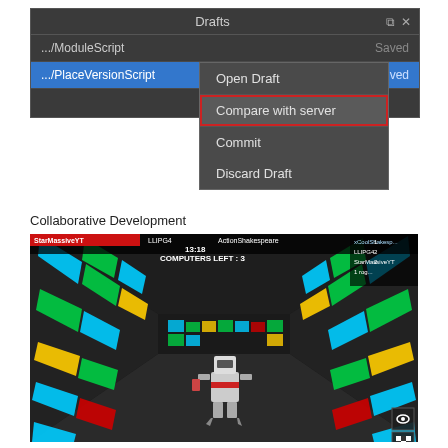[Figure (screenshot): Roblox Studio Drafts panel showing context menu with options: Open Draft, Compare with server (highlighted with red border), Commit, Discard Draft. Two scripts listed: .../ModuleScript (Saved) and .../PlaceVersionScript (selected, blue row).]
Collaborative Development
[Figure (screenshot): Roblox game screenshot showing a first-person corridor lined with colorful glowing panels (cyan, green, yellow, red) on both walls. A robot character is visible in the center. HUD shows player names StarMassiveYT, LLIPG4, ActionShakespeare, timer 13:18, and COMPUTERS LEFT: 3.]